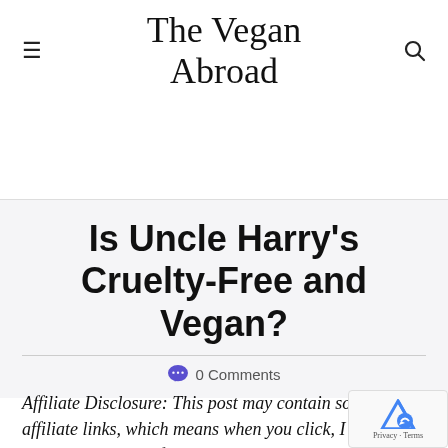The Vegan Abroad
Is Uncle Harry's Cruelty-Free and Vegan?
0 Comments
Affiliate Disclosure: This post may contain some affiliate links, which means when you click, I get a small percentage of the purchase at no extra cost to you. This allows me to keep this website